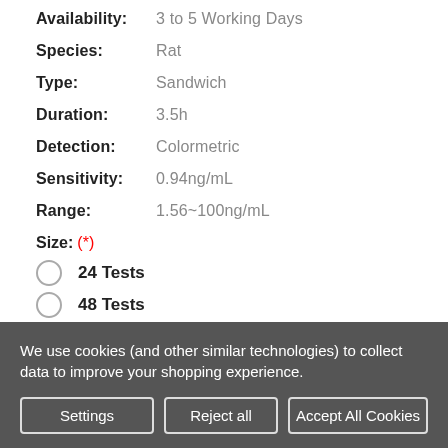Availability: 3 to 5 Working Days
Species: Rat
Type: Sandwich
Duration: 3.5h
Detection: Colormetric
Sensitivity: 0.94ng/mL
Range: 1.56~100ng/mL
Size: (*)
24 Tests
48 Tests
We use cookies (and other similar technologies) to collect data to improve your shopping experience.